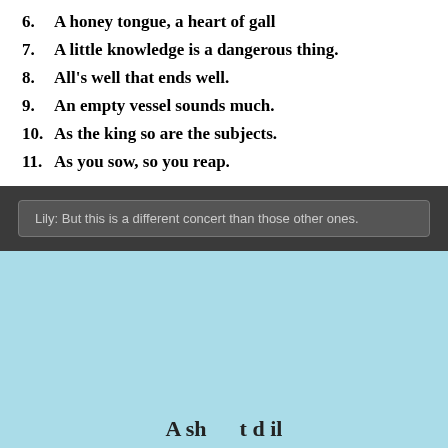6.   A honey tongue, a heart of gall
7.   A little knowledge is a dangerous thing.
8.   All's well that ends well.
9.   An empty vessel sounds much.
10.  As the king so are the subjects.
11.  As you sow, so you reap.
Lily: But this is a different concert than those other ones.
[Figure (other): Light blue background section with partial bold text visible at bottom edge]